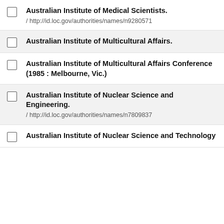Australian Institute of Medical Scientists.
/ http://id.loc.gov/authorities/names/n9280571
Australian Institute of Multicultural Affairs.
Australian Institute of Multicultural Affairs Conference (1985 : Melbourne, Vic.)
Australian Institute of Nuclear Science and Engineering.
/ http://id.loc.gov/authorities/names/n7809837
Australian Institute of Nuclear Science and Technology